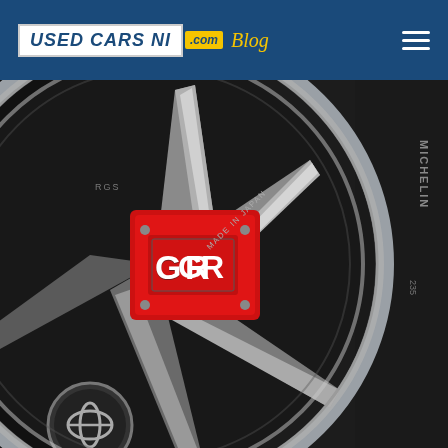USED CARS NI .com Blog
[Figure (photo): Close-up photo of a chrome alloy wheel with a red GR (Toyota GazooRacing) brake caliper visible through the spokes. The wheel is made in Japan, and a Michelin tyre is visible on the outer edge. Toyota logo hub cap is visible at the bottom left.]